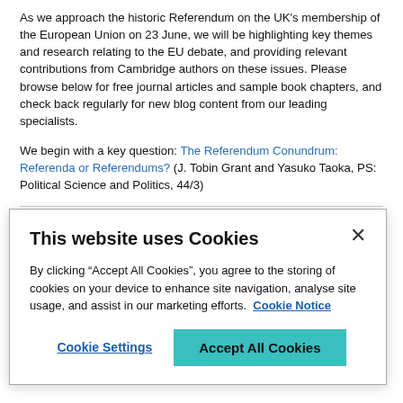As we approach the historic Referendum on the UK's membership of the European Union on 23 June, we will be highlighting key themes and research relating to the EU debate, and providing relevant contributions from Cambridge authors on these issues. Please browse below for free journal articles and sample book chapters, and check back regularly for new blog content from our leading specialists.
We begin with a key question: The Referendum Conundrum: Referenda or Referendums? (J. Tobin Grant and Yasuko Taoka, PS: Political Science and Politics, 44/3)
The History and Political Science of EU Referenda
This website uses Cookies
By clicking “Accept All Cookies”, you agree to the storing of cookies on your device to enhance site navigation, analyse site usage, and assist in our marketing efforts. Cookie Notice